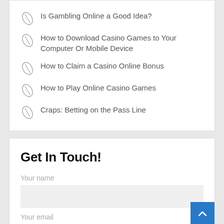Is Gambling Online a Good Idea?
How to Download Casino Games to Your Computer Or Mobile Device
How to Claim a Casino Online Bonus
How to Play Online Casino Games
Craps: Betting on the Pass Line
Get In Touch!
Your name
Your email